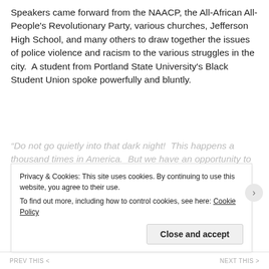Speakers came forward from the NAACP, the All-African All-People's Revolutionary Party, various churches, Jefferson High School, and many others to draw together the issues of police violence and racism to the various struggles in the city.  A student from Portland State University's Black Student Union spoke powerfully and bluntly.
“Do not go quietly into that dark night!  This happens a thousand times in America.  But we have an opportunity to rise up and use our collective voices to tell America, ‘Enough is Enough!’  ... American, how much more do you want us to hear?  We bore the injustices of slavery.  We
Privacy & Cookies: This site uses cookies. By continuing to use this website, you agree to their use.
To find out more, including how to control cookies, see here: Cookie Policy

Close and accept